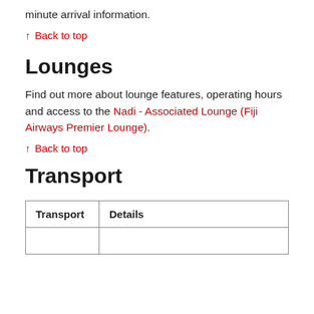minute arrival information.
↑ Back to top
Lounges
Find out more about lounge features, operating hours and access to the Nadi - Associated Lounge (Fiji Airways Premier Lounge).
↑ Back to top
Transport
| Transport | Details |
| --- | --- |
|  |  |